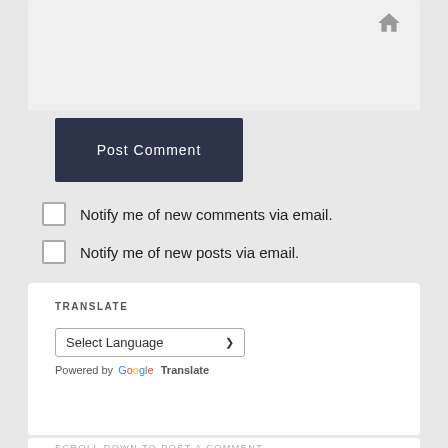[Figure (screenshot): Top input area with home icon, light gray background]
Post Comment
Notify me of new comments via email.
Notify me of new posts via email.
TRANSLATE
Select Language
Powered by Google Translate
SCROLL DOWN TO POST A COMMENT